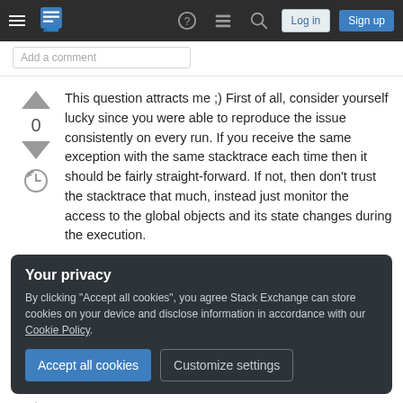Stack Exchange navigation bar with Log in and Sign up buttons
Add a comment
This question attracts me ;) First of all, consider yourself lucky since you were able to reproduce the issue consistently on every run. If you receive the same exception with the same stacktrace each time then it should be fairly straight-forward. If not, then don't trust the stacktrace that much, instead just monitor the access to the global objects and its state changes during the execution.
Your privacy
By clicking "Accept all cookies", you agree Stack Exchange can store cookies on your device and disclose information in accordance with our Cookie Policy.
Accept all cookies
Customize settings
trouble. As a rule, use locks for the shortest possible